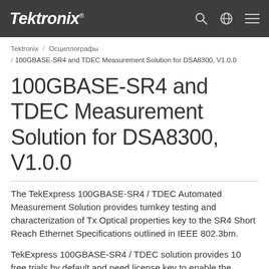Tektronix
Tektronix / Осциллографы / 100GBASE-SR4 and TDEC Measurement Solution for DSA8300, V1.0.0
100GBASE-SR4 and TDEC Measurement Solution for DSA8300, V1.0.0
The TekExpress 100GBASE-SR4 / TDEC Automated Measurement Solution provides turnkey testing and characterization of Tx Optical properties key to the SR4 Short Reach Ethernet Specifications outlined in IEEE 802.3bm.
TekExpress 100GBASE-SR4 / TDEC solution provides 10 free trials by default and need license key to enable the application permanently.